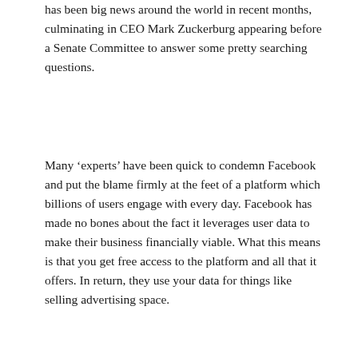has been big news around the world in recent months, culminating in CEO Mark Zuckerburg appearing before a Senate Committee to answer some pretty searching questions.
Many ‘experts’ have been quick to condemn Facebook and put the blame firmly at the feet of a platform which billions of users engage with every day. Facebook has made no bones about the fact it leverages user data to make their business financially viable. What this means is that you get free access to the platform and all that it offers. In return, they use your data for things like selling advertising space.